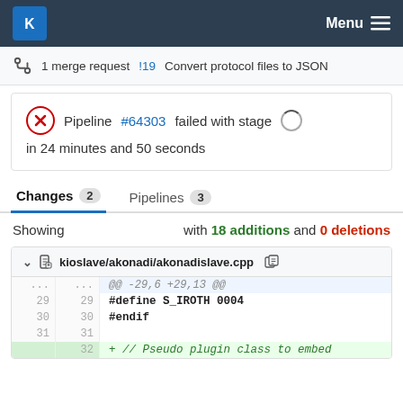KDE Menu
1 merge request !19 Convert protocol files to JSON
Pipeline #64303 failed with stage in 24 minutes and 50 seconds
Changes 2   Pipelines 3
Showing   with 18 additions and 0 deletions
kioslave/akonadi/akonadislave.cpp
| old | new | code |
| --- | --- | --- |
| ... | ... | @@ -29,6 +29,13 @@ |
| 29 | 29 | #define S_IROTH 0004 |
| 30 | 30 | #endif |
| 31 | 31 |  |
|  | 32 | + // Pseudo plugin class to embed |